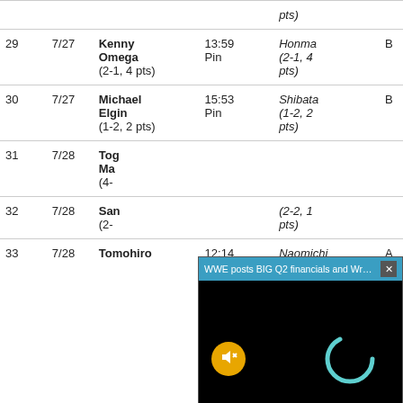| # | Date | Winner | Result | Loser | Block |
| --- | --- | --- | --- | --- | --- |
|  |  |  |  | (pts) |  |
| 29 | 7/27 | Kenny Omega (2-1, 4 pts) | 13:59 Pin | Honma (2-1, 4 pts) | B |
| 30 | 7/27 | Michael Elgin (1-2, 2 pts) | 15:53 Pin | Shibata (1-2, 2 pts) | B |
| 31 | 7/28 | Togi Makabe (4-…) |  |  |  |
| 32 | 7/28 | Sanada (2-…) |  | (2-2, 1 pts) |  |
| 33 | 7/28 | Tomohiro | 12:14 | Naomichi | A |
[Figure (screenshot): Video overlay popup: 'WWE posts BIG Q2 financials and Wrestl...' with a mute button (orange circle with mute icon) and a loading spinner on a black background.]